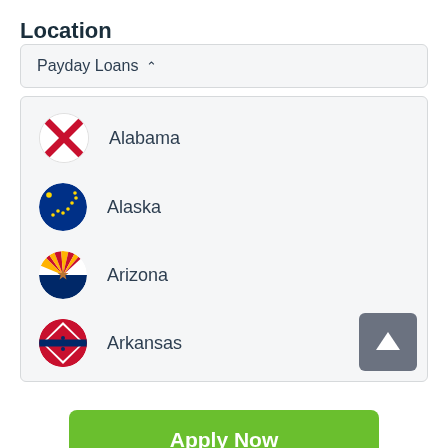Location
Payday Loans
Alabama
Alaska
Arizona
Arkansas
Apply Now
Applying does NOT affect your credit score! No credit check to apply.